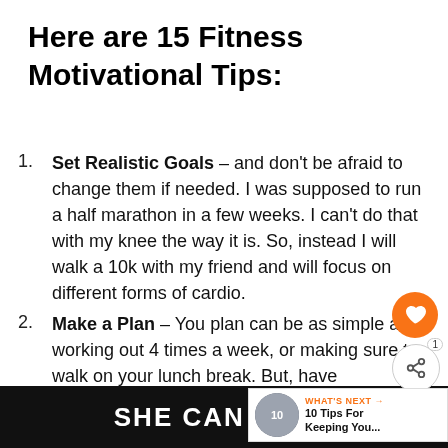Here are 15 Fitness Motivational Tips:
Set Realistic Goals – and don't be afraid to change them if needed. I was supposed to run a half marathon in a few weeks. I can't do that with my knee the way it is. So, instead I will walk a 10k with my friend and will focus on different forms of cardio.
Make a Plan – You plan can be as simple as working out 4 times a week, or making sure to walk on your lunch break. But, have
SHE CAN STEM